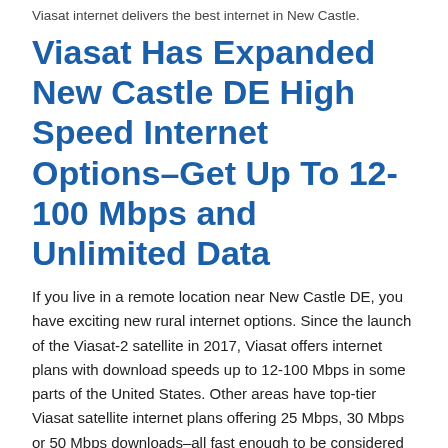Viasat internet delivers the best internet in New Castle.
Viasat Has Expanded New Castle DE High Speed Internet Options–Get Up To 12-100 Mbps and Unlimited Data
If you live in a remote location near New Castle DE, you have exciting new rural internet options. Since the launch of the Viasat-2 satellite in 2017, Viasat offers internet plans with download speeds up to 12-100 Mbps in some parts of the United States. Other areas have top-tier Viasat satellite internet plans offering 25 Mbps, 30 Mbps or 50 Mbps downloads–all fast enough to be considered high-speed broadband internet. Even Viasat internet plans with priority data thresholds have unlimited data, although your internet